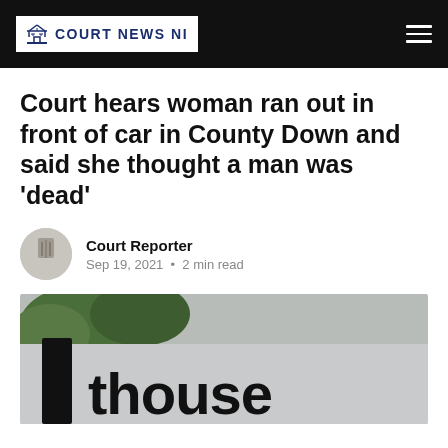COURT NEWS NI
Court hears woman ran out in front of car in County Down and said she thought a man was 'dead'
Court Reporter
Sep 19, 2021 • 2 min read
[Figure (photo): Photograph of a courthouse sign, partially visible showing 'thouse', with green trees in the background and a grey sky]